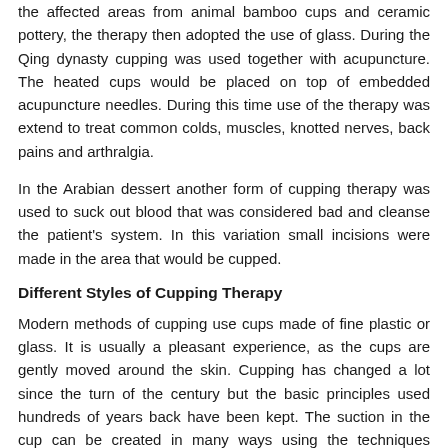the affected areas from animal bamboo cups and ceramic pottery, the therapy then adopted the use of glass. During the Qing dynasty cupping was used together with acupuncture. The heated cups would be placed on top of embedded acupuncture needles. During this time use of the therapy was extend to treat common colds, muscles, knotted nerves, back pains and arthralgia.
In the Arabian dessert another form of cupping therapy was used to suck out blood that was considered bad and cleanse the patient's system. In this variation small incisions were made in the area that would be cupped.
Different Styles of Cupping Therapy
Modern methods of cupping use cups made of fine plastic or glass. It is usually a pleasant experience, as the cups are gently moved around the skin. Cupping has changed a lot since the turn of the century but the basic principles used hundreds of years back have been kept. The suction in the cup can be created in many ways using the techniques available now. One way is to swab alcohol onto the bottom of the cup.